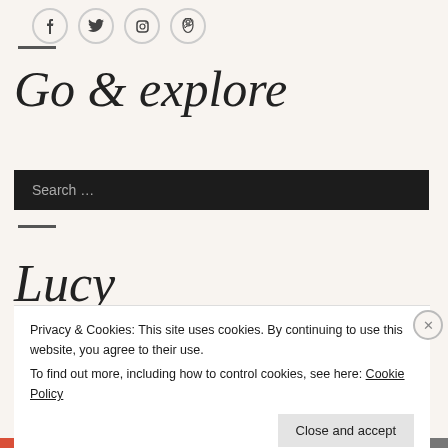[Figure (illustration): Social media icons: Facebook, Twitter, Instagram, Pinterest in circular outlines]
Go & explore
[Figure (screenshot): Dark search bar with placeholder text 'Search ...']
Lucy
Privacy & Cookies: This site uses cookies. By continuing to use this website, you agree to their use.
To find out more, including how to control cookies, see here: Cookie Policy
Close and accept